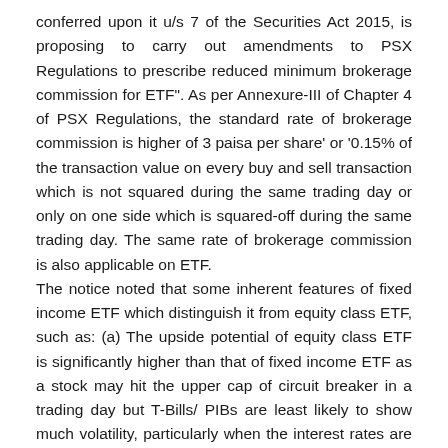conferred upon it u/s 7 of the Securities Act 2015, is proposing to carry out amendments to PSX Regulations to prescribe reduced minimum brokerage commission for ETF". As per Annexure-III of Chapter 4 of PSX Regulations, the standard rate of brokerage commission is higher of 3 paisa per share' or '0.15% of the transaction value on every buy and sell transaction which is not squared during the same trading day or only on one side which is squared-off during the same trading day. The same rate of brokerage commission is also applicable on ETF.
The notice noted that some inherent features of fixed income ETF which distinguish it from equity class ETF, such as: (a) The upside potential of equity class ETF is significantly higher than that of fixed income ETF as a stock may hit the upper cap of circuit breaker in a trading day but T-Bills/ PIBs are least likely to show much volatility, particularly when the interest rates are at low level; and (b)